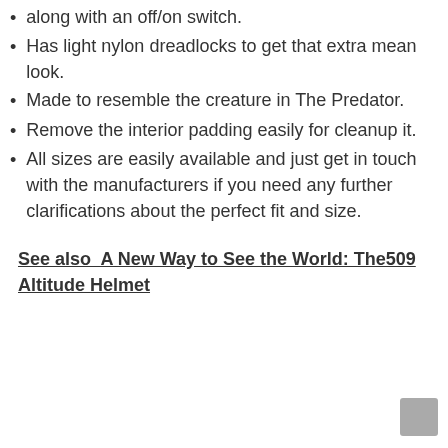along with an off/on switch.
Has light nylon dreadlocks to get that extra mean look.
Made to resemble the creature in The Predator.
Remove the interior padding easily for cleanup it.
All sizes are easily available and just get in touch with the manufacturers if you need any further clarifications about the perfect fit and size.
See also  A New Way to See the World: The509 Altitude Helmet